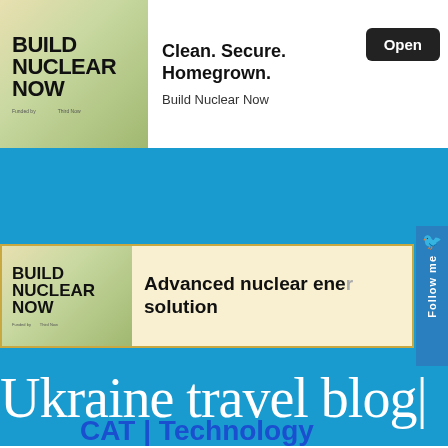[Figure (screenshot): Advertisement banner for Build Nuclear Now app showing logo and tagline 'Clean. Secure. Homegrown.' with Open button]
[Figure (screenshot): Second advertisement banner for Build Nuclear Now showing 'Advanced nuclear energy solution']
Ukraine travel blog
Home | UkraineTrek.com | About blog | RSS | FaceBook
CAT | Technology